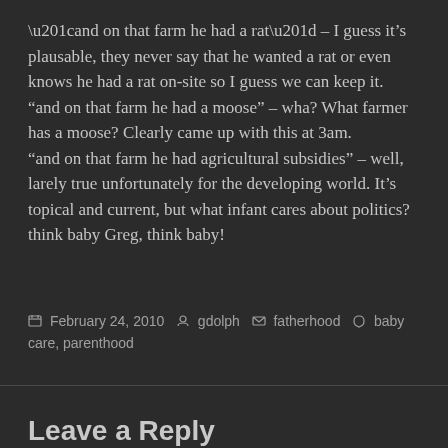“and on that farm he had a rat” – I guess it’s plausable, they never say that he wanted a rat or even knows he had a rat on-site so I guess we can keep it.
“and on that farm he had a moose” – wha? What farmer has a moose? Clearly came up with this at 3am.
“and on that farm he had agricultural subsidies” – well, larely true unfortunately for the developing world. It’s topical and current, but what infant cares about politics? think baby Greg, think baby!
February 24, 2010  gdolph  fatherhood  baby care, parenthood
Leave a Reply